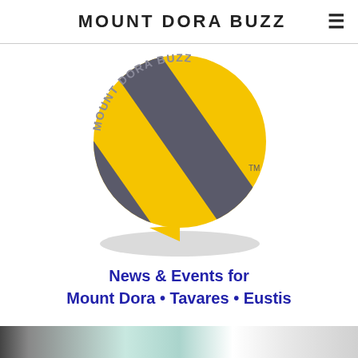MOUNT DORA BUZZ
[Figure (logo): Mount Dora Buzz logo: a yellow speech bubble with dark grey diagonal stripes, circular text reading MOUNT DORA BUZZ around the outside, and a TM mark. A grey elliptical shadow sits below the bubble.]
News & Events for Mount Dora • Tavares • Eustis
[Figure (photo): Bottom strip showing a partial image, appears to be a colorful event or news photo cropped at the bottom of the page.]